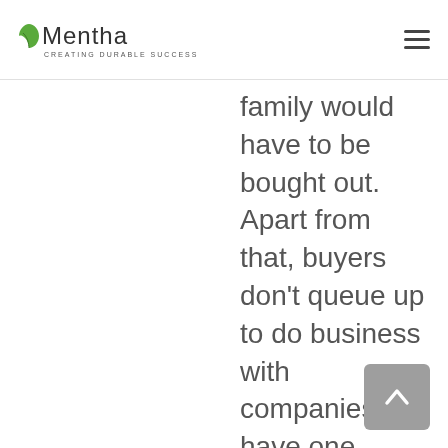Mentha — Creating Durable Success
family would have to be bought out. Apart from that, buyers don't queue up to do business with companies that have one owner because of the reliance on that one owner-director. So we asked ABN AMRO to explore the options for a new future. Things